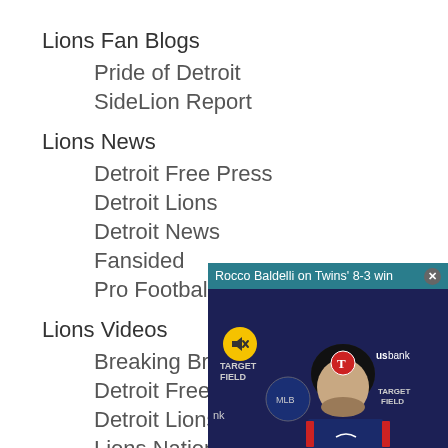Lions Fan Blogs
Pride of Detroit
SideLion Report
Lions News
Detroit Free Press
Detroit Lions
Detroit News
Fansided
Pro Football Rumors
Lions Videos
Breaking Bread
Detroit Free Press
Detroit Lions
Lions Nation Unite
NFL
[Figure (screenshot): Video popup overlay showing 'Rocco Baldelli on Twins' 8-3 win' with a man in a Minnesota Twins cap against a Target Field backdrop with us bank signage. A yellow mute button is visible.]